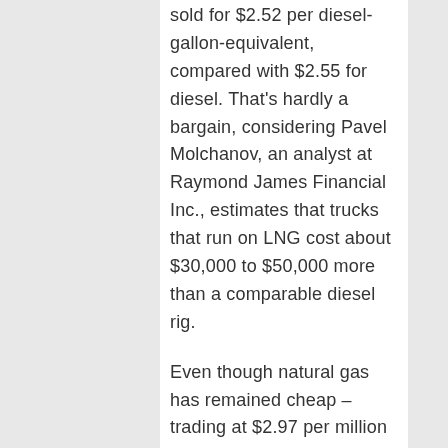sold for $2.52 per diesel-gallon-equivalent, compared with $2.55 for diesel. That's hardly a bargain, considering Pavel Molchanov, an analyst at Raymond James Financial Inc., estimates that trucks that run on LNG cost about $30,000 to $50,000 more than a comparable diesel rig.
Even though natural gas has remained cheap – trading at $2.97 per million British thermal units in New York on Tuesday –